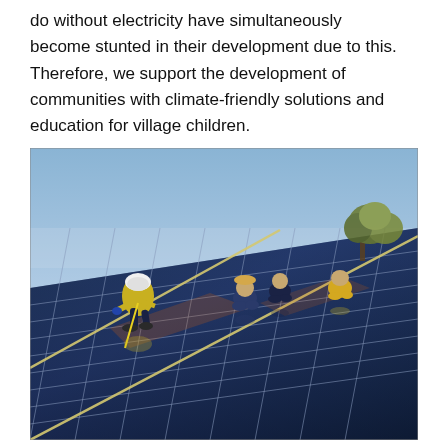do without electricity have simultaneously become stunted in their development due to this. Therefore, we support the development of communities with climate-friendly solutions and education for village children.
[Figure (photo): Workers and people installing or working on a large solar panel array on a rooftop or elevated surface, with a clear blue sky background and a tree visible in the upper right.]